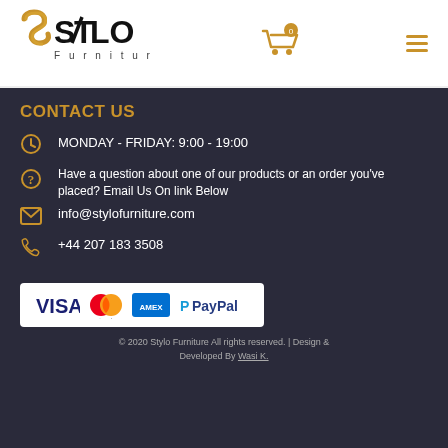[Figure (logo): Stylo Furniture logo with golden S lettermark and black STLO wordmark text with Furniture below]
[Figure (other): Shopping cart icon with orange color and badge showing 0]
[Figure (other): Hamburger menu icon with three orange horizontal lines]
CONTACT US
MONDAY - FRIDAY: 9:00 - 19:00
Have a question about one of our products or an order you've placed? Email Us On link Below
info@stylofurniture.com
+44 207 183 3508
[Figure (other): Payment methods banner showing VISA, Mastercard, American Express, and PayPal logos on white background]
© 2020 Stylo Furniture All rights reserved. | Design & Developed By Wasi K.